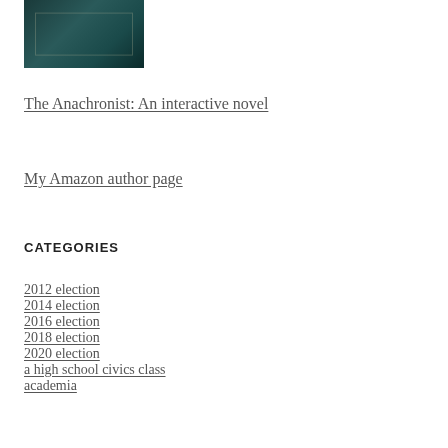[Figure (photo): Book cover image for The Anachronist, dark teal/green toned illustration]
The Anachronist: An interactive novel
My Amazon author page
CATEGORIES
2012 election
2014 election
2016 election
2018 election
2020 election
a high school civics class
academia